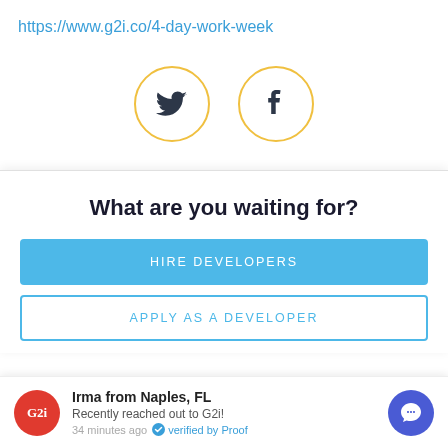https://www.g2i.co/4-day-work-week
[Figure (illustration): Two circular social media icons with gold/yellow borders: Twitter bird icon and Facebook 'f' icon, centered on the page]
What are you waiting for?
HIRE DEVELOPERS
APPLY AS A DEVELOPER
Irma from Naples, FL
Recently reached out to G2i!
34 minutes ago  verified by Proof